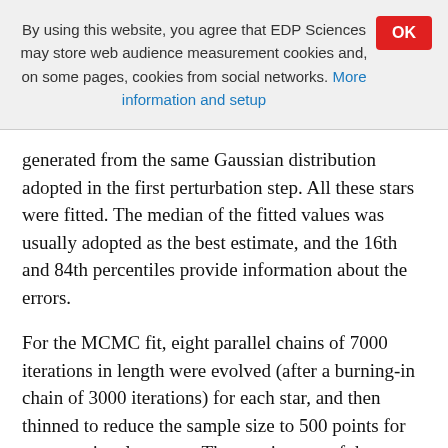By using this website, you agree that EDP Sciences may store web audience measurement cookies and, on some pages, cookies from social networks. More information and setup
generated from the same Gaussian distribution adopted in the first perturbation step. All these stars were fitted. The median of the fitted values was usually adopted as the best estimate, and the 16th and 84th percentiles provide information about the errors.
For the MCMC fit, eight parallel chains of 7000 iterations in length were evolved (after a burning-in chain of 3000 iterations) for each star, and then thinned to reduce the sample size to 500 points for computational reasons. The consistency of the estimates